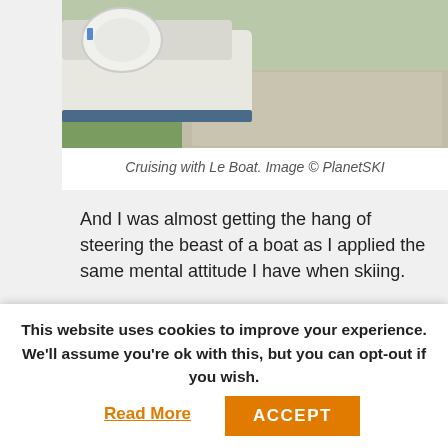[Figure (photo): Top portion of boat photo showing boat deck and grassy area near water]
Cruising with Le Boat. Image © PlanetSKI
And I was almost getting the hang of steering the beast of a boat as I applied the same mental attitude I have when skiing.
[Figure (photo): Video thumbnail showing a man in a cap with trees and river in background, with play button overlay]
This website uses cookies to improve your experience. We'll assume you're ok with this, but you can opt-out if you wish.
Read More
ACCEPT